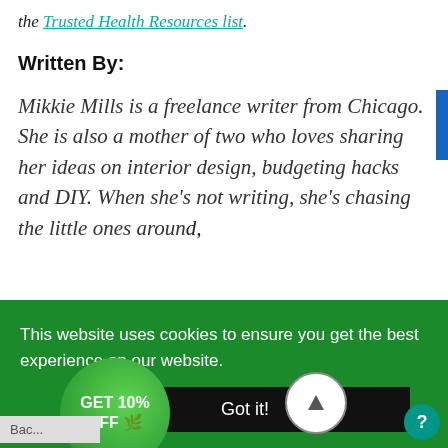the Trusted Health Resources list.
Written By:
Mikkie Mills is a freelance writer from Chicago. She is also a mother of two who loves sharing her ideas on interior design, budgeting hacks and DIY. When she's not writing, she's chasing the little ones around,
This website uses cookies to ensure you get the best experience on our website.
Got it!
GET 10% OFF 🌿
natural and has made a life study of nature as